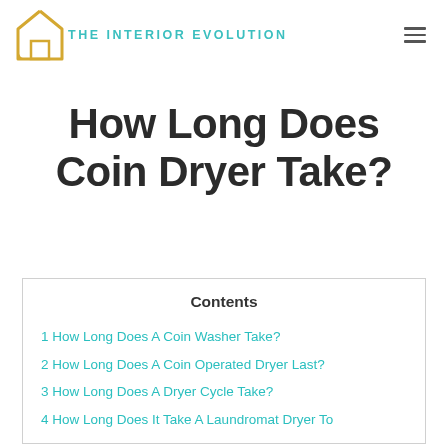THE INTERIOR EVOLUTION
How Long Does Coin Dryer Take?
| Contents |
| --- |
| 1 How Long Does A Coin Washer Take? |
| 2 How Long Does A Coin Operated Dryer Last? |
| 3 How Long Does A Dryer Cycle Take? |
| 4 How Long Does It Take A Laundromat Dryer To |